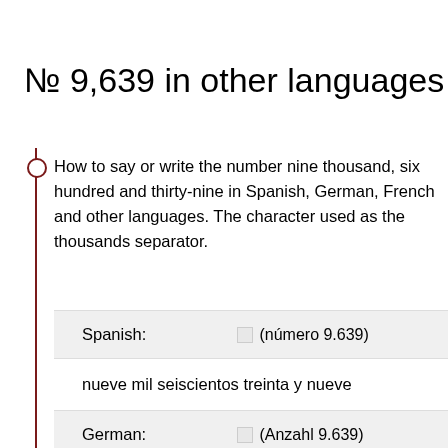№ 9,639 in other languages
How to say or write the number nine thousand, six hundred and thirty-nine in Spanish, German, French and other languages. The character used as the thousands separator.
| Language | Symbol | Written form |
| --- | --- | --- |
| Spanish: | □ (número 9.639) | nueve mil seiscientos treinta y nueve |
| German: | □ (Anzahl 9.639) | neuntausendsechshundertneununddreißig |
| French: | □ (nombre 9 639) |  |